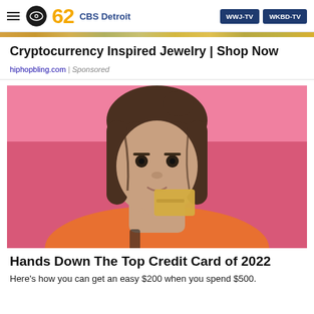CBS 62 CBS Detroit | WWJ-TV | WKBD-TV
Cryptocurrency Inspired Jewelry | Shop Now
hiphopbling.com | Sponsored
[Figure (photo): Young woman with bangs holding a gold credit card in front of a pink background, wearing an orange top]
Hands Down The Top Credit Card of 2022
Here's how you can get an easy $200 when you spend $500.